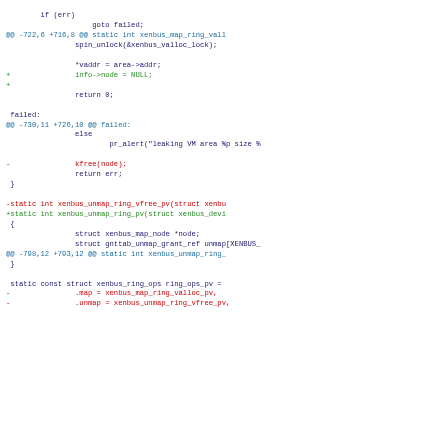Code diff showing changes to xenbus ring mapping functions in Linux kernel source